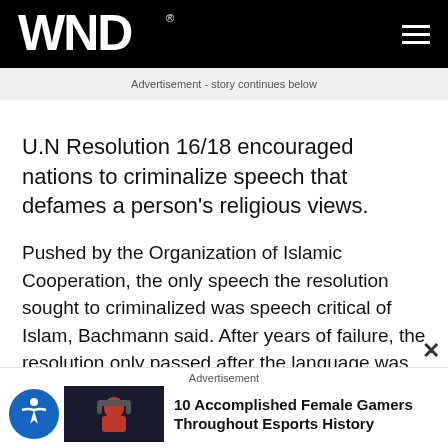WND
Advertisement - story continues below
U.N Resolution 16/18 encouraged nations to criminalize speech that defames a person's religious views.
Pushed by the Organization of Islamic Cooperation, the only speech the resolution sought to criminalized was speech critical of Islam, Bachmann said. After years of failure, the resolution only passed after the language was somewhat watered down.
Advertisement
10 Accomplished Female Gamers Throughout Esports History